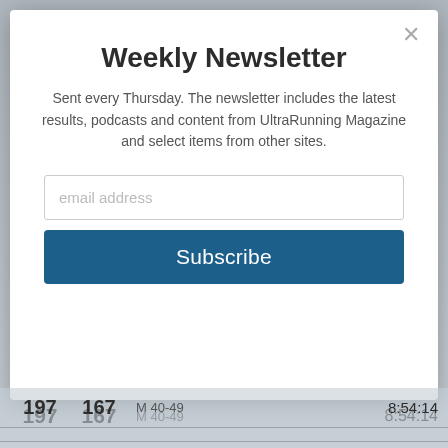[Figure (screenshot): Background race results table with gray gradient showing runners ranked 197, 198, 199]
Weekly Newsletter
Sent every Thursday. The newsletter includes the latest results, podcasts and content from UltraRunning Magazine and select items from other sites.
email address
Subscribe
| Rank | Bib | Name/Category | Time |
| --- | --- | --- | --- |
| 197 | 167 | M 40-49 | 8:54:14 |
| 198 | 168 | Damien Baveye
M 20-29 | 8:54:28 |
| 199 | 31 | Amanda Dion
F 40-49 | 8:54:50 |